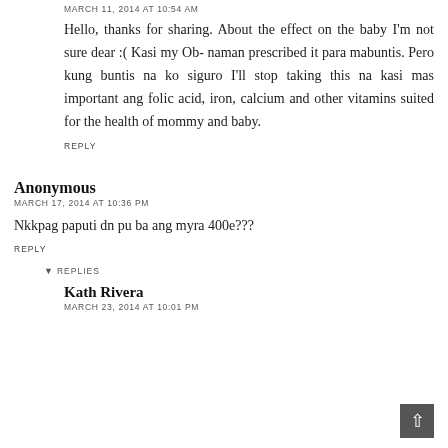MARCH 11, 2014 AT 10:54 AM
Hello, thanks for sharing. About the effect on the baby I'm not sure dear :( Kasi my Ob- naman prescribed it para mabuntis. Pero kung buntis na ko siguro I'll stop taking this na kasi mas important ang folic acid, iron, calcium and other vitamins suited for the health of mommy and baby.
REPLY
Anonymous
MARCH 17, 2014 AT 10:36 PM
Nkkpag paputi dn pu ba ang myra 400e???
REPLY
▼  REPLIES
Kath Rivera
MARCH 23, 2014 AT 10:01 PM